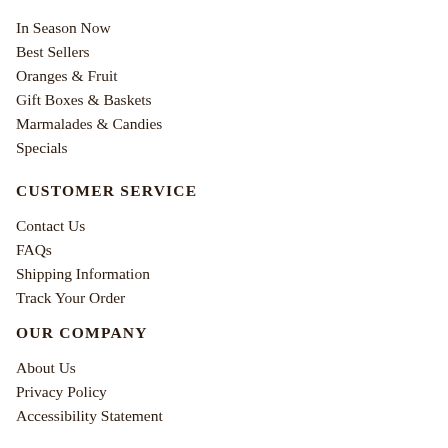In Season Now
Best Sellers
Oranges & Fruit
Gift Boxes & Baskets
Marmalades & Candies
Specials
CUSTOMER SERVICE
Contact Us
FAQs
Shipping Information
Track Your Order
OUR COMPANY
About Us
Privacy Policy
Accessibility Statement